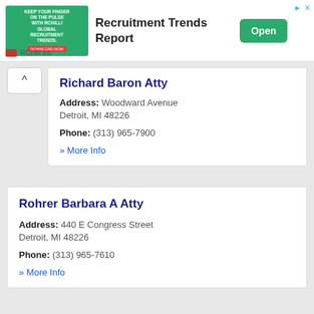[Figure (screenshot): Advertisement banner for RChilli Inc - Recruitment Trends Report with green Open button]
Richard Baron Atty
Address: Woodward Avenue Detroit, MI 48226
Phone: (313) 965-7900
» More Info
Rohrer Barbara A Atty
Address: 440 E Congress Street Detroit, MI 48226
Phone: (313) 965-7610
» More Info